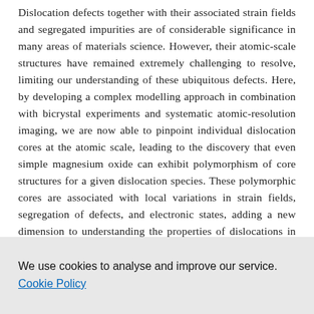Dislocation defects together with their associated strain fields and segregated impurities are of considerable significance in many areas of materials science. However, their atomic-scale structures have remained extremely challenging to resolve, limiting our understanding of these ubiquitous defects. Here, by developing a complex modelling approach in combination with bicrystal experiments and systematic atomic-resolution imaging, we are now able to pinpoint individual dislocation cores at the atomic scale, leading to the discovery that even simple magnesium oxide can exhibit polymorphism of core structures for a given dislocation species. These polymorphic cores are associated with local variations in strain fields, segregation of defects, and electronic states, adding a new dimension to understanding the properties of dislocations in real materials. The findings advance our fundamental understanding of basic behaviours of dislocations and demonstrate that quantitative prediction and characterization of dislocations in real materials is possible.
We use cookies to analyse and improve our service. Cookie Policy